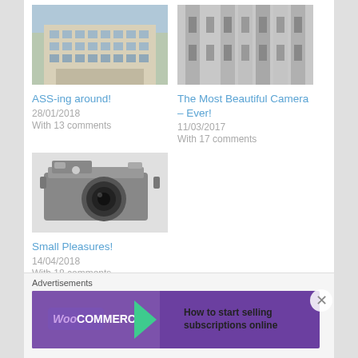[Figure (photo): Ornate multi-storey European building photographed from street level]
ASS-ing around!
28/01/2018
With 13 comments
[Figure (photo): Abstract close-up of a modernist concrete building facade]
The Most Beautiful Camera – Ever!
11/03/2017
With 17 comments
[Figure (photo): Black and white photograph of a vintage SLR film camera]
Small Pleasures!
14/04/2018
With 18 comments
Advertisements
[Figure (screenshot): WooCommerce advertisement banner: How to start selling subscriptions online]